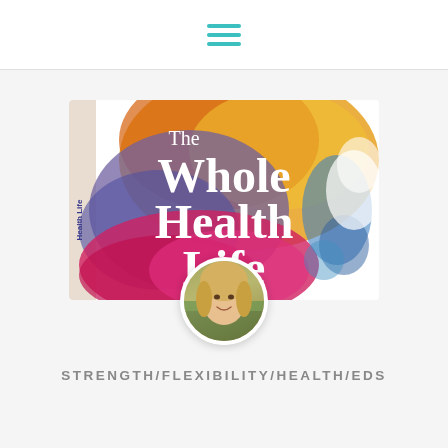hamburger menu icon
[Figure (illustration): Book cover for 'The Whole Health Life' showing a colorful watercolor background in warm reds, oranges, yellows and cool purples and blues. A book spine on the left reads 'Health Life' vertically in blue text on a light background. The title 'The Whole Health Life' is displayed in large white serif bold text. A circular author photo showing a smiling blonde woman is overlaid at the bottom center of the cover image.]
STRENGTH/FLEXIBILITY/HEALTH/EDS